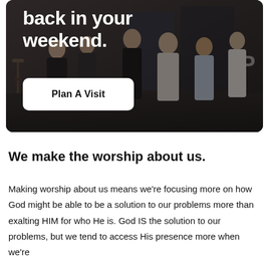[Figure (photo): Dark photo of people gathered in a church foyer/lobby area, with overlaid bold white text reading 'back in your weekend.' and a white 'Plan A Visit' button below]
We make the worship about us.
Making worship about us means we're focusing more on how God might be able to be a solution to our problems more than exalting HIM for who He is. God IS the solution to our problems, but we tend to access His presence more when we're